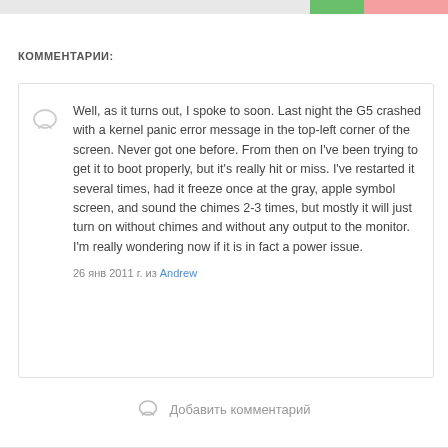КОММЕНТАРИИ:
Well, as it turns out, I spoke to soon. Last night the G5 crashed with a kernel panic error message in the top-left corner of the screen. Never got one before. From then on I've been trying to get it to boot properly, but it's really hit or miss. I've restarted it several times, had it freeze once at the gray, apple symbol screen, and sound the chimes 2-3 times, but mostly it will just turn on without chimes and without any output to the monitor. I'm really wondering now if it is in fact a power issue.
26 янв 2011 г. из Andrew
Добавить комментарий